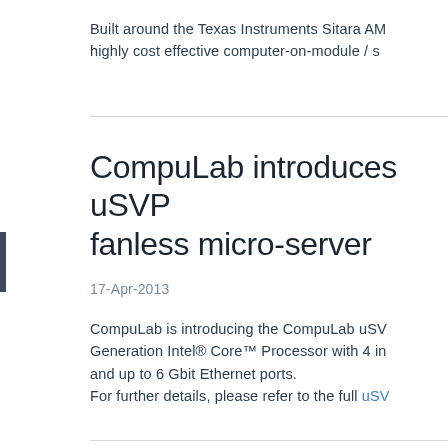Built around the Texas Instruments Sitara AM highly cost effective computer-on-module / s
CompuLab introduces uSVP fanless micro-server
17-Apr-2013
CompuLab is introducing the CompuLab uSV Generation Intel® Core™ Processor with 4 in and up to 6 Gbit Ethernet ports. For further details, please refer to the full uSV